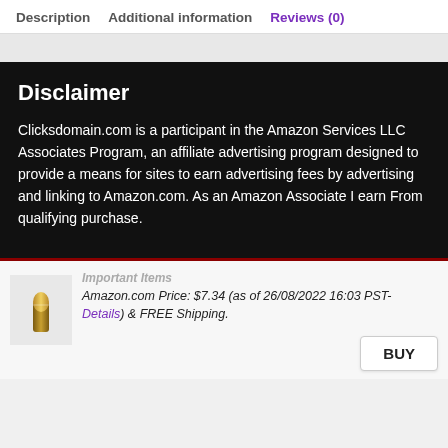Description   Additional information   Reviews (0)
Disclaimer
Clicksdomain.com is a participant in the Amazon Services LLC Associates Program, an affiliate advertising program designed to provide a means for sites to earn advertising fees by advertising and linking to Amazon.com. As an Amazon Associate I earn From qualifying purchase.
Amazon.com Price: $7.34 (as of 26/08/2022 16:03 PST- Details) & FREE Shipping.